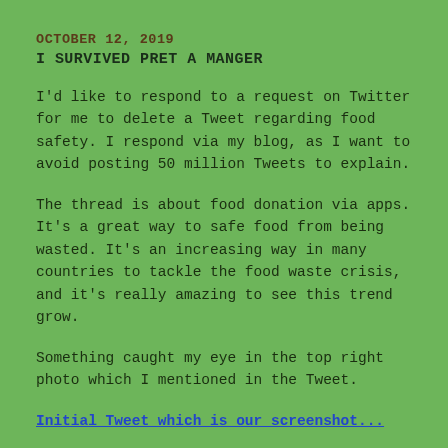OCTOBER 12, 2019
I SURVIVED PRET A MANGER
I'd like to respond to a request on Twitter for me to delete a Tweet regarding food safety. I respond via my blog, as I want to avoid posting 50 million Tweets to explain.
The thread is about food donation via apps. It's a great way to safe food from being wasted. It's an increasing way in many countries to tackle the food waste crisis, and it's really amazing to see this trend grow.
Something caught my eye in the top right photo which I mentioned in the Tweet.
Initial Tweet which is our screenshot...